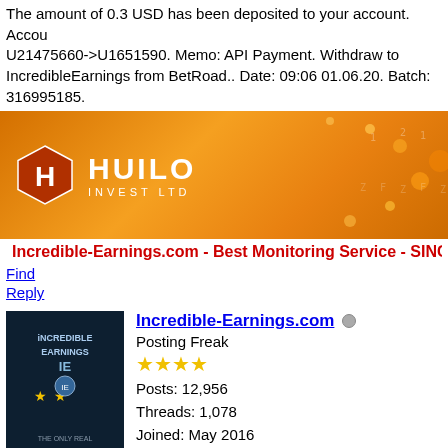The amount of 0.3 USD has been deposited to your account. Account: U21475660->U1651590. Memo: API Payment. Withdraw to IncredibleEarnings from BetRoad.. Date: 09:06 01.06.20. Batch: 316995185.
[Figure (logo): Huilo Invest Ltd orange banner with logo]
Incredible-Earnings.com - Best Monitoring Service - SINCE 200
Find
Reply
[Figure (photo): Incredible Earnings IE avatar image]
Incredible-Earnings.com
Posting Freak
★★★★
Posts: 12,956
Threads: 1,078
Joined: May 2016
Reputation: 0
#4
06-04-2020, 04:03 PM
Paid again!